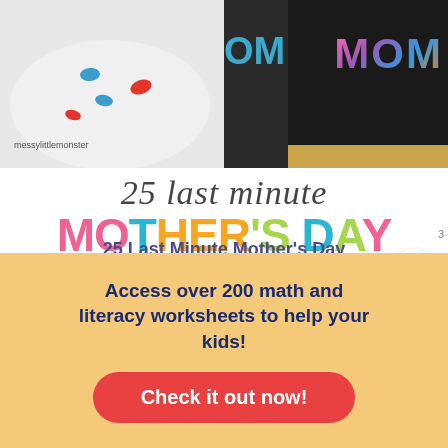[Figure (photo): Two craft photos side by side: left shows a polka dot plate with red and blue dots with text 'messylittlemonster', right shows a black tin can with colorful 'MOM' letters]
25 last minute MOTHER'S DAY CRAFTS
25 Last Minute Mother's Day
Access over 200 math and literacy worksheets to help your kids!
Check it out now!